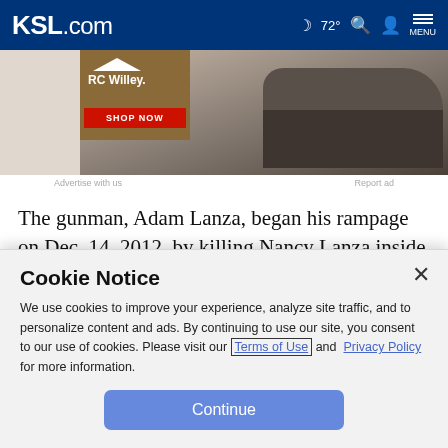KSL.com  72°  MENU
[Figure (screenshot): RC Willey advertisement banner showing a gray sofa, RC Willey logo with roof icon, and a red SHOP NOW button]
Advertise with us    Report ad
The gunman, Adam Lanza, began his rampage on Dec. 14, 2012, by killing Nancy Lanza inside their Newtown home before gunning down 26 people at Sandy Hook Elementary School and then killing himself.
Cookie Notice
We use cookies to improve your experience, analyze site traffic, and to personalize content and ads. By continuing to use our site, you consent to our use of cookies. Please visit our Terms of Use and Privacy Policy for more information.
Continue